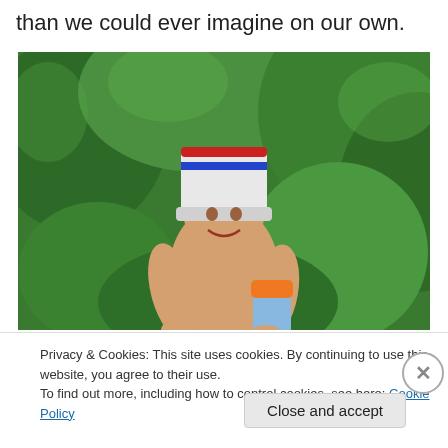than we could ever imagine on our own.
[Figure (photo): A young toddler wearing a white bucket on their head like a hat, smiling, holding an orange and blue sippy cup, shirtless, standing in front of green leafy bushes/shrubs outdoors.]
Privacy & Cookies: This site uses cookies. By continuing to use this website, you agree to their use.
To find out more, including how to control cookies, see here: Cookie Policy
Close and accept